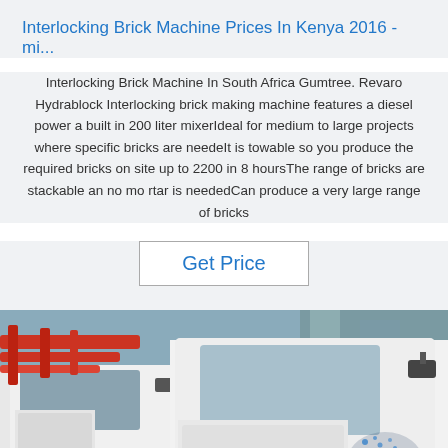Interlocking Brick Machine Prices In Kenya 2016 - mi...
Interlocking Brick Machine In South Africa Gumtree. Revaro Hydrablock Interlocking brick making machine features a diesel power a built in 200 liter mixerIdeal for medium to large projects where specific bricks are needeIt is towable so you produce the required bricks on site up to 2200 in 8 hoursThe range of bricks are stackable an no mo rtar is neededCan produce a very large range of bricks
Get Price
[Figure (photo): Close-up photo of white industrial trucks with red pipes/boom arms visible on the left side, showing cab and mirrors. A blue watermark logo reading 'TOP' is visible in the lower right corner.]